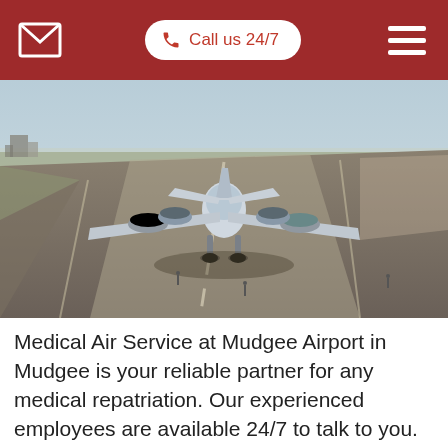Call us 24/7
[Figure (photo): Rear view of a private/medical jet aircraft on an airport runway, taxiing with engines visible; flat open airport tarmac and sky in background]
Medical Air Service at Mudgee Airport in Mudgee is your reliable partner for any medical repatriation. Our experienced employees are available 24/7 to talk to you. They can arrange medical transport home for patients within the shortest time possible by jet or